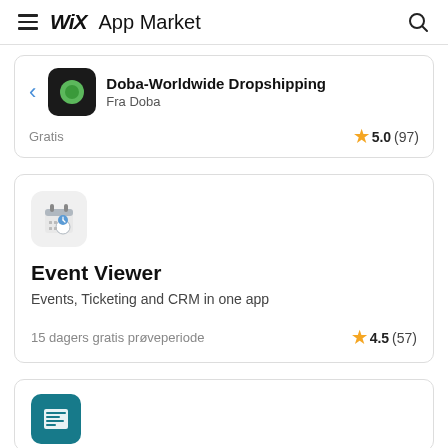Wix App Market
[Figure (screenshot): App listing card for Doba-Worldwide Dropshipping by Doba, showing app icon (dark rounded square with green circle), back arrow, rating 5.0 (97), price Gratis]
[Figure (screenshot): App listing card for Event Viewer - Events, Ticketing and CRM in one app. 15 dagers gratis prøveperiode. Rating 4.5 (57). Icon: calendar with clock.]
[Figure (screenshot): Partial app listing card with teal/blue icon visible at bottom of page.]